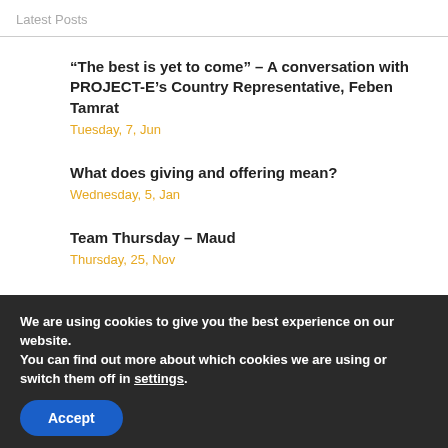Latest Posts
“The best is yet to come” – A conversation with PROJECT-E’s Country Representative, Feben Tamrat
Tuesday, 7, Jun
What does giving and offering mean?
Wednesday, 5, Jan
Team Thursday – Maud
Thursday, 25, Nov
We are using cookies to give you the best experience on our website.
You can find out more about which cookies we are using or switch them off in settings.
Accept